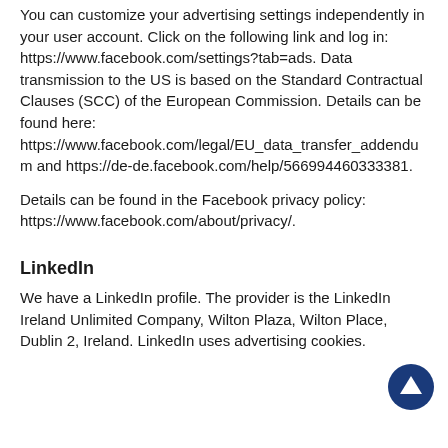You can customize your advertising settings independently in your user account. Click on the following link and log in: https://www.facebook.com/settings?tab=ads. Data transmission to the US is based on the Standard Contractual Clauses (SCC) of the European Commission. Details can be found here: https://www.facebook.com/legal/EU_data_transfer_addendum and https://de-de.facebook.com/help/566994460333381.
Details can be found in the Facebook privacy policy: https://www.facebook.com/about/privacy/.
LinkedIn
We have a LinkedIn profile. The provider is the LinkedIn Ireland Unlimited Company, Wilton Plaza, Wilton Place, Dublin 2, Ireland. LinkedIn uses advertising cookies.